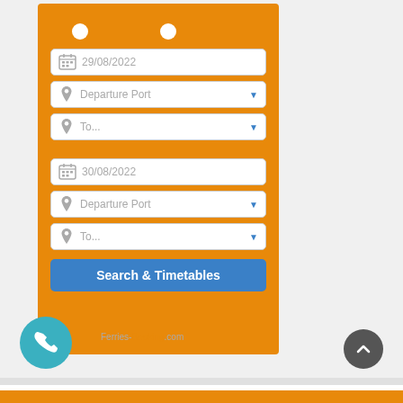[Figure (screenshot): Ferries-Booking.com ferry search widget on an orange panel. Contains two booking sections each with a date field, Departure Port dropdown, and To... destination dropdown. First section shows date 29/08/2022, second shows 30/08/2022. A blue 'Search & Timetables' button appears at the bottom. A teal phone icon button appears bottom-left and a dark scroll-to-top button appears bottom-right.]